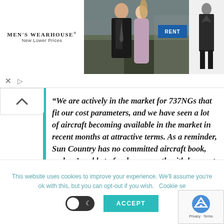[Figure (photo): Men's Wearhouse advertisement banner with couple in formal wear and a mannequin in suit, with RENT button]
"We are actively in the market for 737NGs that fit our cost parameters, and we have seen a lot of aircraft becoming available in the market in recent months at attractive terms. As a reminder, Sun Country has no committed aircraft book, and we're able to fund our growth with low-cost aircraft purchased opportunistically in the used market."
This website uses cookies to improve your experience. We'll assume you're ok with this, but you can opt-out if you wish.  Cookie se
ACCEPT